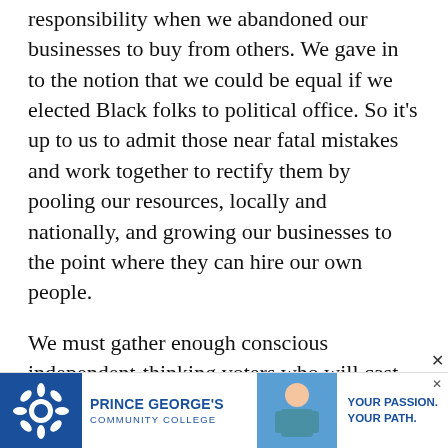responsibility when we abandoned our businesses to buy from others. We gave in to the notion that we could be equal if we elected Black folks to political office. So it's up to us to admit those near fatal mistakes and work together to rectify them by pooling our resources, locally and nationally, and growing our businesses to the point where they can hire our own people.
We must gather enough conscious independent-thinking voters who will cast their votes as a bloc for the candidate who supports our best interests. Enough with th...
[Figure (other): Advertisement banner for Prince George's Community College with blue logo, photo of a student in scrubs, and tagline 'YOUR PASSION. YOUR PATH.']